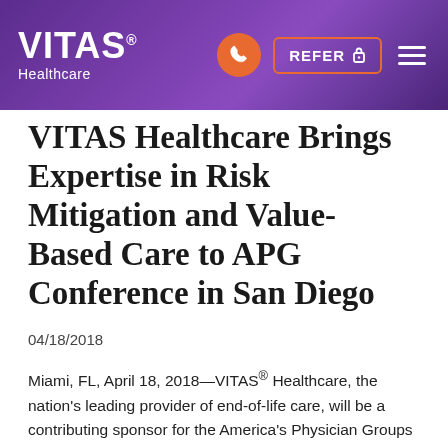VITAS Healthcare — REFER
VITAS Healthcare Brings Expertise in Risk Mitigation and Value-Based Care to APG Conference in San Diego
04/18/2018
Miami, FL, April 18, 2018—VITAS® Healthcare, the nation's leading provider of end-of-life care, will be a contributing sponsor for the America's Physician Groups national